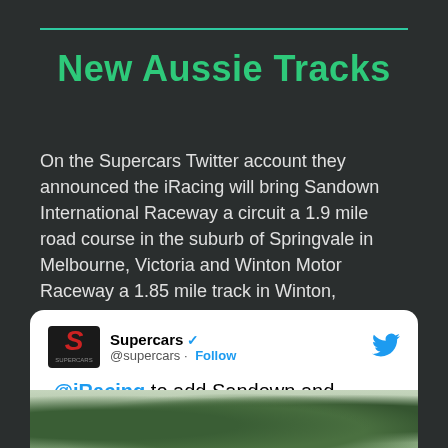New Aussie Tracks
On the Supercars Twitter account they announced the iRacing will bring Sandown International Raceway a circuit a 1.9 mile road course in the suburb of Springvale in Melbourne, Victoria and Winton Motor Raceway a 1.85 mile track in Winton, Australia.
[Figure (screenshot): Embedded tweet from @supercars (Supercars, verified) saying '.@iRacing to add Sandown and Winton to platform in coming months #RepcoSC' with a Follow button and Twitter bird icon, plus a partial race track image at the bottom.]